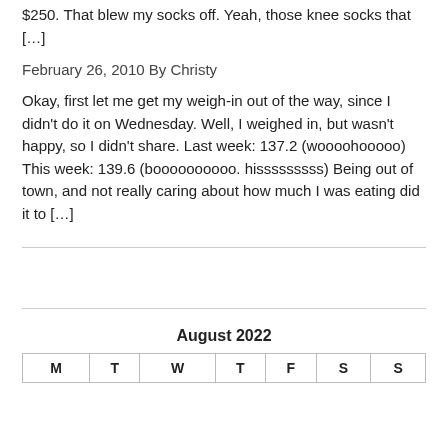$250. That blew my socks off. Yeah, those knee socks that […]
February 26, 2010 By Christy
Okay, first let me get my weigh-in out of the way, since I didn't do it on Wednesday. Well, I weighed in, but wasn't happy, so I didn't share. Last week: 137.2 (woooohooooo) This week: 139.6 (boooooooooo. hisssssssss) Being out of town, and not really caring about how much I was eating did it to […]
| M | T | W | T | F | S | S |
| --- | --- | --- | --- | --- | --- | --- |